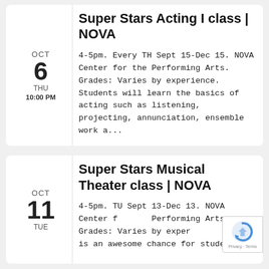Super Stars Acting I class | NOVA
OCT 6 THU 10:00 PM
4-5pm. Every TH Sept 15-Dec 15. NOVA Center for the Performing Arts. Grades: Varies by experience. Students will learn the basics of acting such as listening, projecting, annunciation, ensemble work a...
Super Stars Musical Theater class | NOVA
OCT 11 TUE
4-5pm. TU Sept 13-Dec 13. NOVA Center for the Performing Arts. Grades: Varies by experience. This is an awesome chance for students to